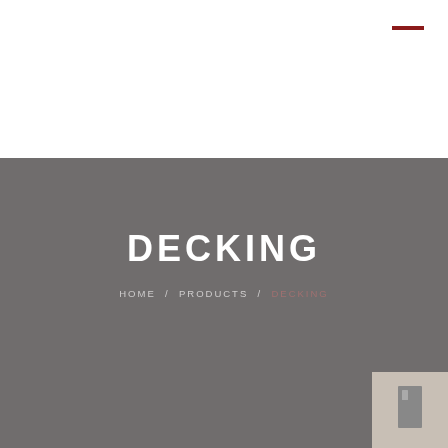[Figure (other): Top white navigation bar with a dark red horizontal dash/hamburger menu icon in the upper right corner]
DECKING
HOME / PRODUCTS / DECKING
[Figure (logo): Small square logo box in the lower right corner with a grey/beige background and a dark rectangular symbol]